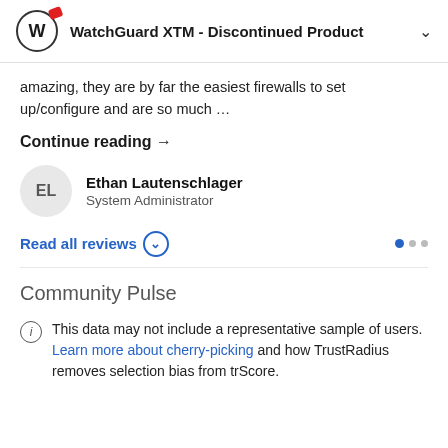WatchGuard XTM - Discontinued Product
amazing, they are by far the easiest firewalls to set up/configure and are so much …
Continue reading →
Ethan Lautenschlager
System Administrator
Read all reviews
Community Pulse
This data may not include a representative sample of users. Learn more about cherry-picking and how TrustRadius removes selection bias from trScore.